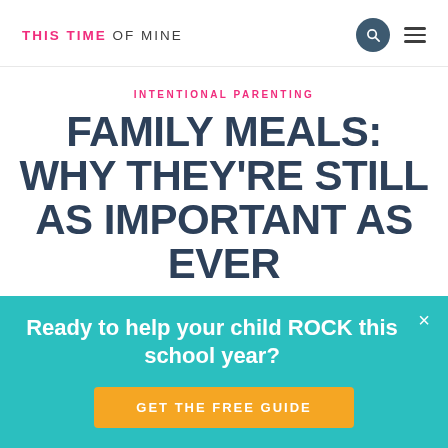THIS TIME OF MINE
INTENTIONAL PARENTING
FAMILY MEALS: WHY THEY'RE STILL AS IMPORTANT AS EVER
Ready to help your child ROCK this school year?
GET THE FREE GUIDE